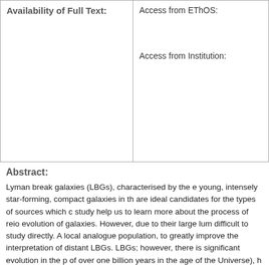| Availability of Full Text: | Access from EThOS:
Access from Institution: |
| --- | --- |
Abstract:
Lyman break galaxies (LBGs), characterised by the e young, intensely star-forming, compact galaxies in th are ideal candidates for the types of sources which c study help us to learn more about the process of reio evolution of galaxies. However, due to their large lum difficult to study directly. A local analogue population, to greatly improve the interpretation of distant LBGs. LBGs; however, there is significant evolution in the p of over one billion years in the age of the Universe), h establishment and study of an analogue sample of z selected an LBA candidate sample of 180 local (0.05 the distant z ~ 5 − 7 LBG population. I fit the spectra population ages, dust reddening, metallicities, star fo found in the distant LBG sample, and depending on t analogues. This confirms that galaxies exist in the lo have reduced and interpreted radio observations of a systems that do not host AGN. In fact, their stellar po radio continuum has been established. Their low age calibrated for stellar populations at ages > 100 Myr, a genuine LBA, I analysed low-resolution AAOmega sp